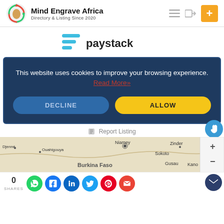[Figure (logo): Mind Engrave Africa logo with navigation icons]
[Figure (logo): Paystack payment logo with stacked lines icon]
This website uses cookies to improve your browsing experience. Read More»
DECLINE
ALLOW
Report Listing
[Figure (map): Map showing West Africa region including Burkina Faso, Niamey, Zinder, Sokoto, Kano, Gusau, Djenne, Ouahigouya]
0 SHARES